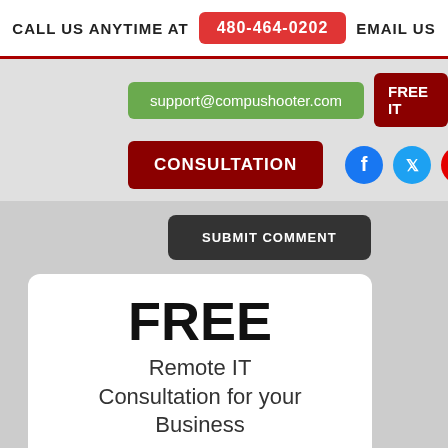CALL US ANYTIME AT 480-464-0202 EMAIL US
support@compushooter.com
FREE IT
CONSULTATION
SUBMIT COMMENT
FREE
Remote IT Consultation for your Business
Click the button below to get...